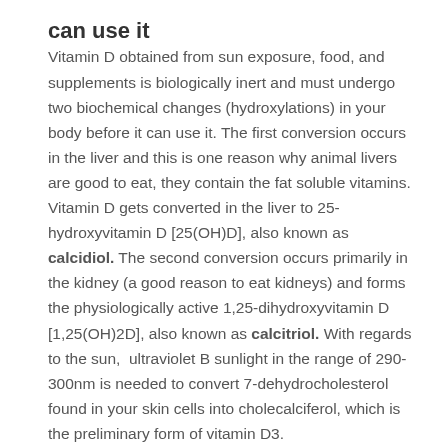can use it
Vitamin D obtained from sun exposure, food, and supplements is biologically inert and must undergo two biochemical changes (hydroxylations) in your body before it can use it. The first conversion occurs in the liver and this is one reason why animal livers are good to eat, they contain the fat soluble vitamins. Vitamin D gets converted in the liver to 25-hydroxyvitamin D [25(OH)D], also known as calcidiol. The second conversion occurs primarily in the kidney (a good reason to eat kidneys) and forms the physiologically active 1,25-dihydroxyvitamin D [1,25(OH)2D], also known as calcitriol. With regards to the sun,  ultraviolet B sunlight in the range of 290-300nm is needed to convert 7-dehydrocholesterol found in your skin cells into cholecalciferol, which is the preliminary form of vitamin D3.